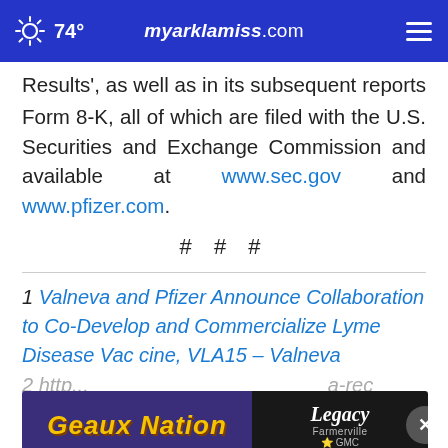74° myarklamiss.com
Results', as well as in its subsequent reports on Form 8-K, all of which are filed with the U.S. Securities and Exchange Commission and available at www.sec.gov and www.pfizer.com.
# # #
1 Valneva and Pfizer Announce Collaboration to Co-Develop and Commercialize Lyme Disease Vaccine, VLA15 – Valneva
2 http... ...a-rec eives... ...e-dis